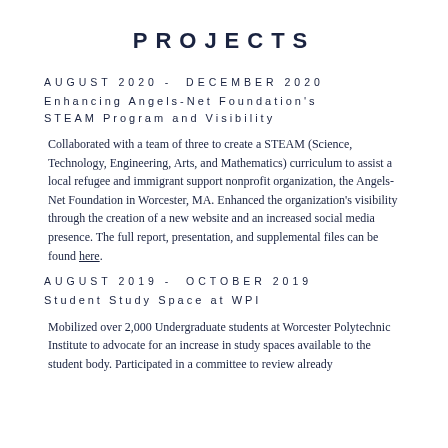PROJECTS
AUGUST 2020 - DECEMBER 2020
Enhancing Angels-Net Foundation's STEAM Program and Visibility
Collaborated with a team of three to create a STEAM (Science, Technology, Engineering, Arts, and Mathematics) curriculum to assist a local refugee and immigrant support nonprofit organization, the Angels-Net Foundation in Worcester, MA. Enhanced the organization's visibility through the creation of a new website and an increased social media presence. The full report, presentation, and supplemental files can be found here.
AUGUST 2019 - OCTOBER 2019
Student Study Space at WPI
Mobilized over 2,000 Undergraduate students at Worcester Polytechnic Institute to advocate for an increase in study spaces available to the student body. Participated in a committee to review already